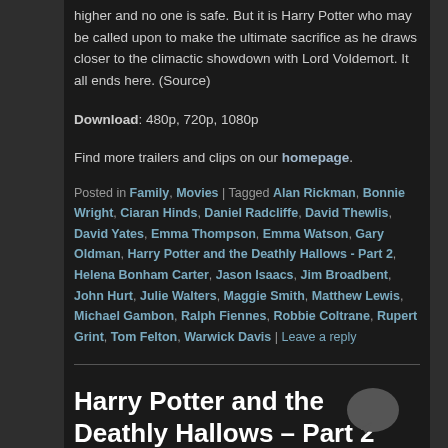higher and no one is safe. But it is Harry Potter who may be called upon to make the ultimate sacrifice as he draws closer to the climactic showdown with Lord Voldemort. It all ends here. (Source)
Download: 480p, 720p, 1080p
Find more trailers and clips on our homepage.
Posted in Family, Movies | Tagged Alan Rickman, Bonnie Wright, Ciaran Hinds, Daniel Radcliffe, David Thewlis, David Yates, Emma Thompson, Emma Watson, Gary Oldman, Harry Potter and the Deathly Hallows - Part 2, Helena Bonham Carter, Jason Isaacs, Jim Broadbent, John Hurt, Julie Walters, Maggie Smith, Matthew Lewis, Michael Gambon, Ralph Fiennes, Robbie Coltrane, Rupert Grint, Tom Felton, Warwick Davis | Leave a reply
Harry Potter and the Deathly Hallows – Part 2